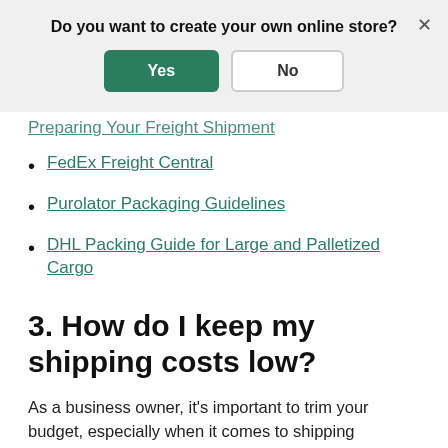Do you want to create your own online store?
Yes | No
Preparing Your Freight Shipment (partial/truncated link)
FedEx Freight Central
Purolator Packaging Guidelines
DHL Packing Guide for Large and Palletized Cargo
3. How do I keep my shipping costs low?
As a business owner, it's important to trim your budget, especially when it comes to shipping